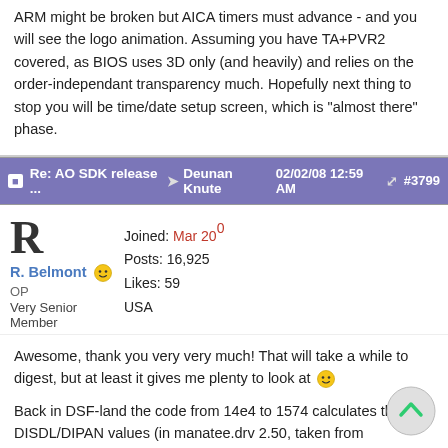ARM might be broken but AICA timers must advance - and you will see the logo animation. Assuming you have TA+PVR2 covered, as BIOS uses 3D only (and heavily) and relies on the order-independant transparency much. Hopefully next thing to stop you will be time/date setup screen, which is "almost there" phase.
Re: AO SDK release ... Deunan Knute 02/02/08 12:59 AM #3799
R. Belmont OP Very Senior Member Joined: Mar 200 Posts: 16,925 Likes: 59 USA
Awesome, thank you very very much! That will take a while to digest, but at least it gives me plenty to look at
Back in DSF-land the code from 14e4 to 1574 calculates the DISDL/DIPAN values (in manatee.drv 2.50, taken from kingshriek's ful Skies of Arcadia rip). I don't see anything wrong ARM-emulation-wise there, but I'll have to see if I can rig it to use VBA's ARM or something instead so I can have comparison values